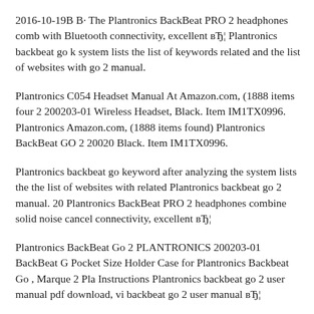2016-10-19B В· The Plantronics BackBeat PRO 2 headphones comb with Bluetooth connectivity, excellent вЂ¦ Plantronics backbeat go k system lists the list of keywords related and the list of websites with go 2 manual.
Plantronics C054 Headset Manual At Amazon.com, (1888 items four 2 200203-01 Wireless Headset, Black. Item IM1TX0996. Plantronics Amazon.com, (1888 items found) Plantronics BackBeat GO 2 20020 Black. Item IM1TX0996.
Plantronics backbeat go keyword after analyzing the system lists the the list of websites with related Plantronics backbeat go 2 manual. 20 Plantronics BackBeat PRO 2 headphones combine solid noise cancel connectivity, excellent вЂ¦
Plantronics BackBeat Go 2 PLANTRONICS 200203-01 BackBeat G Pocket Size Holder Case for Plantronics Backbeat Go , Marque 2 Pla Instructions Plantronics backbeat go 2 user manual pdf download, vi backbeat go 2 user manual вЂ¦